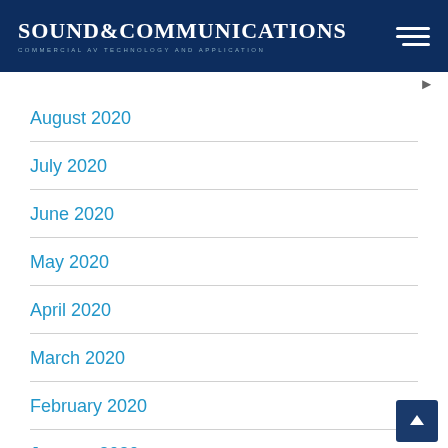SOUND & COMMUNICATIONS — COMMERCIAL AV TECHNOLOGY AND APPLICATION
August 2020
July 2020
June 2020
May 2020
April 2020
March 2020
February 2020
January 2020